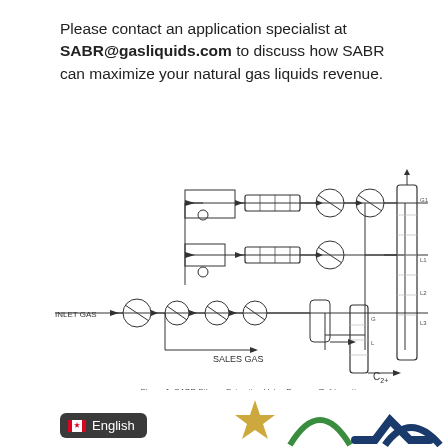Please contact an application specialist at SABR@gasliquids.com to discuss how SABR can maximize your natural gas liquids revenue.
[Figure (engineering-diagram): Process flow diagram titled 'Figure 1: SABR Ethane Extraction Using Propane Refrigeration'. Shows INLET GAS entering through compressors, heat exchangers, and expanders in two parallel trains, with SALES GAS output and C2+ product output. Includes distillation columns on the right side.]
Figure 1: SABR Ethane Extraction Using Propane Refrigeration
[Figure (logo): Gas Liquids Engineering logo and language selector showing English with Canadian flag, partial company logo with star and curved arrow shapes in green and navy.]